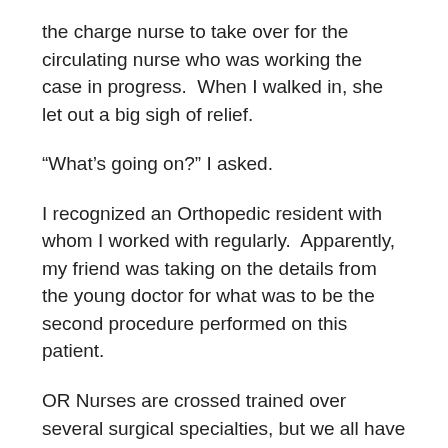the charge nurse to take over for the circulating nurse who was working the case in progress.  When I walked in, she let out a big sigh of relief.
“What’s going on?” I asked.
I recognized an Orthopedic resident with whom I worked with regularly.  Apparently, my friend was taking on the details from the young doctor for what was to be the second procedure performed on this patient.
OR Nurses are crossed trained over several surgical specialties, but we all have one or two which we are the most comfortable and confident.  Part II was not my co-worker’s expertise; it was mine.  Immediately, I started rattling off a list of what we were going to need for